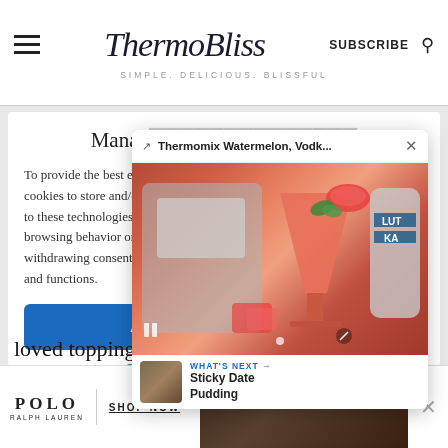ThermoBliss — SIMPLE. DELICIOUS. BLISSFUL — SUBSCRIBE
Manag...
To provide the best expe... cookies to store and/or a... to these technologies wi... browsing behavior or un... withdrawing consent, ma... and functions.
[Figure (screenshot): Popup showing Thermomix Watermelon, Vodk... recipe with a watermelon cocktail drink photo, close button (X), heart icon, share icon, view count 289, and WHAT'S NEXT arrow to Sticky Date Pudding]
ACCEPT
Privacy Policy
loved toppings:
[Figure (screenshot): POLO Ralph Lauren advertisement with SHOP NOW text and product image, with close X button]